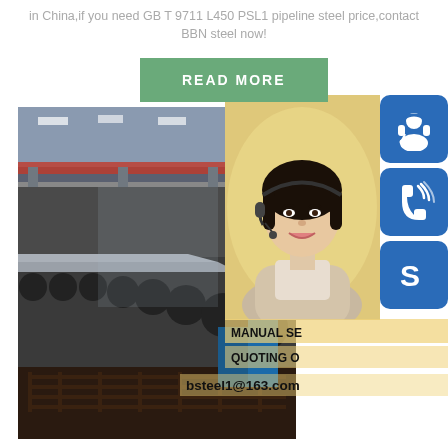in China,if you need GB T 9711 L450 PSL1 pipeline steel price,contact BBN steel now!
[Figure (photo): Green 'READ MORE' button on a light background]
[Figure (photo): Steel manufacturing facility interior showing a large industrial plant with steel plates on a roller conveyor, overhead cranes, and blue machinery]
[Figure (photo): Smiling Asian woman with headset microphone against a warm yellow background, customer service representative]
[Figure (infographic): Three blue rounded square icons stacked vertically: headset/support icon, phone/call icon, and Skype icon]
MANUAL SE
QUOTING O
bsteel1@163.com